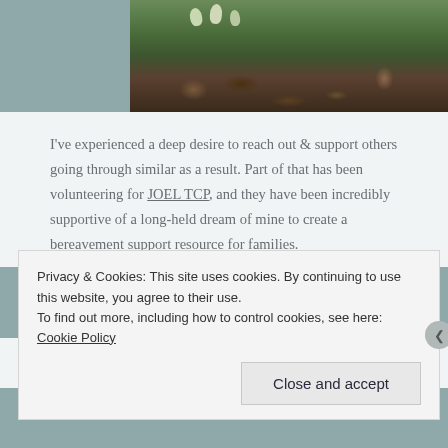[Figure (photo): Top portion of a photo showing plants/flowers with green leaves against a dark brown leaf-covered ground background.]
I've experienced a deep desire to reach out & support others going through similar as a result. Part of that has been volunteering for JOEL TCP, and they have been incredibly supportive of a long-held dream of mine to create a bereavement support resource for families.
My son has already started asking questions about his the sister he will never get to meet &
Privacy & Cookies: This site uses cookies. By continuing to use this website, you agree to their use.
To find out more, including how to control cookies, see here:
Cookie Policy
Close and accept